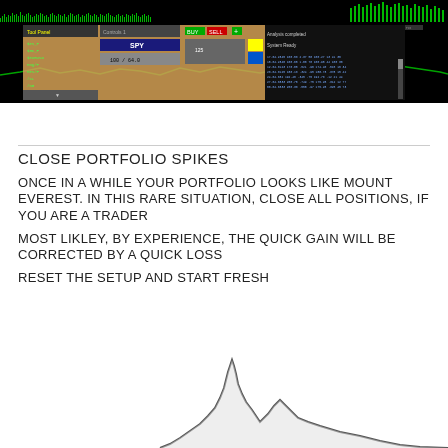[Figure (screenshot): Trading platform screenshot showing price chart with green bar histogram at top, oscillator indicator below, and a trading interface panel with order entry controls, status messages 'Analysis completed' and 'System Ready', and a data table with numerical values on black background with orange/tan panel area]
CLOSE PORTFOLIO SPIKES
ONCE IN A WHILE YOUR PORTFOLIO LOOKS LIKE MOUNT EVEREST. IN THIS RARE SITUATION, CLOSE ALL POSITIONS, IF YOU ARE A TRADER
MOST LIKLEY, BY EXPERIENCE, THE QUICK GAIN WILL BE CORRECTED BY A QUICK LOSS
RESET THE SETUP AND START FRESH
[Figure (continuous-plot): Mountain/line chart showing a portfolio value curve that rises to a sharp peak resembling Mount Everest, then drops sharply, illustrated in gray/dark tones at the bottom of the page]